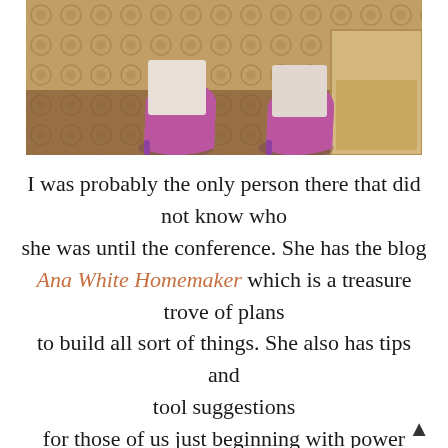[Figure (photo): Cropped photo showing the legs and feet of a woman wearing bright purple/pink high heel shoes, standing on a patterned carpet near a wooden cabinet or box]
I was probably the only person there that did not know who she was until the conference. She has the blog Ana White Homemaker which is a treasure trove of plans to build all sort of things. She also has tips and tool suggestions for those of us just beginning with power tools. Ana is movie-star gorgeous so very nice. She and her husband and daughter live in Alaska.